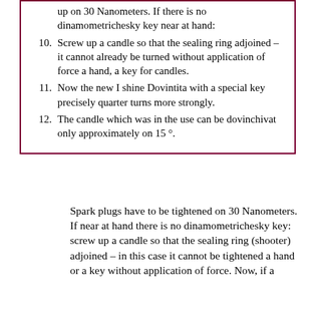9. Spark plugs have to be screwed up on 30 Nanometers. If there is no dinamometrichesky key near at hand:
10. Screw up a candle so that the sealing ring adjoined – it cannot already be turned without application of force a hand, a key for candles.
11. Now the new I shine Dovintita with a special key precisely quarter turns more strongly.
12. The candle which was in the use can be dovinchivat only approximately on 15 °.
Spark plugs have to be tightened on 30 Nanometers. If near at hand there is no dinamometrichesky key: screw up a candle so that the sealing ring (shooter) adjoined – in this case it cannot be tightened a hand or a key without application of force. Now, if a